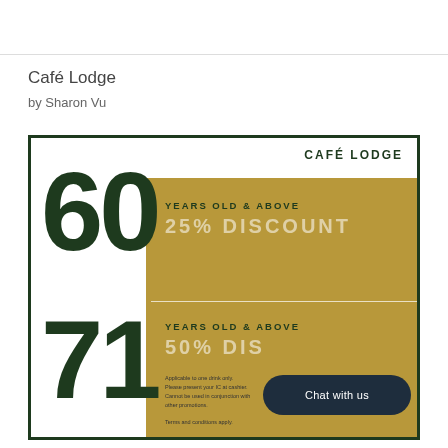Café Lodge
by Sharon Vu
[Figure (infographic): Café Lodge senior discount flyer showing 60 years old & above 25% discount and 71 years old & above 50% discount, with fine print at bottom. Dark green border with gold/tan background panel and large dark green numbers 60 and 71.]
Chat with us